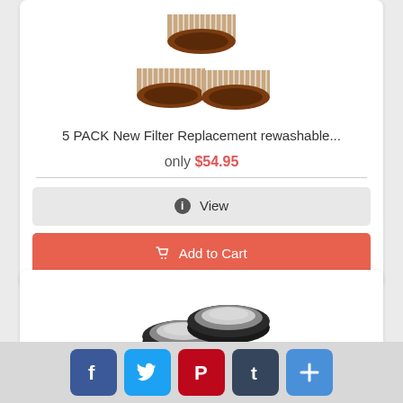[Figure (photo): Three circular vacuum filter replacements arranged in a triangle, brown and white colored, rewashable filters]
5 PACK New Filter Replacement rewashable...
only $54.95
View
Add to Cart
[Figure (photo): Two circular vacuum filter discs side by side, flat with black rims and white/grey filter material, viewed from top]
[Figure (infographic): Social media sharing buttons: Facebook, Twitter, Pinterest, Tumblr, and a plus/more button]